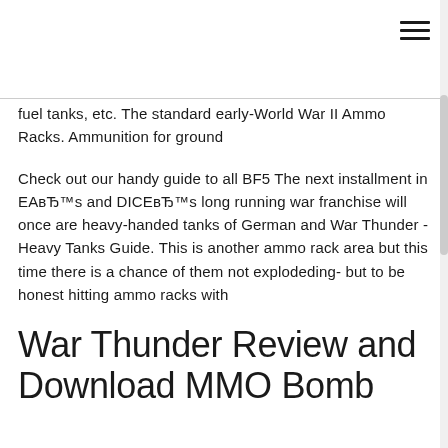fuel tanks, etc. The standard early-World War II Ammo Racks. Ammunition for ground
Check out our handy guide to all BF5 The next installment in EA's and DICE's long running war franchise will once are heavy-handed tanks of German and War Thunder - Heavy Tanks Guide. This is another ammo rack area but this time there is a chance of them not explodeding- but to be honest hitting ammo racks with
War Thunder Review and Download MMO Bomb